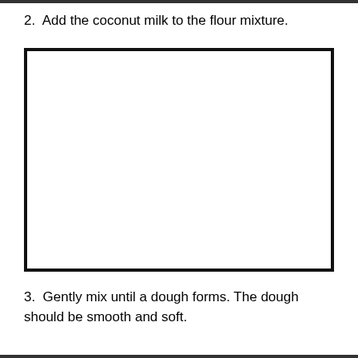2.  Add the coconut milk to the flour mixture.
[Figure (other): Blank white rectangle with thick black border, used as an image placeholder for a recipe step illustration.]
3.  Gently mix until a dough forms. The dough should be smooth and soft.